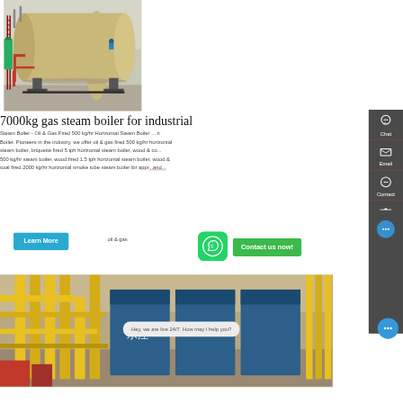[Figure (photo): Industrial gas steam boiler - large horizontal tan/beige cylindrical boiler in a factory setting with red piping and supports]
7000kg gas steam boiler for industrial
Steam Boiler - Oil & Gas Fired 500 kg/hr Horizontal Steam Boiler ... Boiler. Pioneers in the industry, we offer oil & gas fired 500 kg/hr horizontal steam boiler, briquette fired 5 tph horizontal steam boiler, wood & coal 500 kg/hr steam boiler, wood fired 1.5 tph horizontal steam boiler, wood & coal fired 2000 kg/hr horizontal smoke tube steam boiler ibr appr... oil & gas
[Figure (photo): Industrial boiler room with yellow pipes and blue boiler units]
[Figure (infographic): Right sidebar with Chat, Email, and Contact icons on dark gray background]
[Figure (infographic): WhatsApp green rounded square button icon]
[Figure (infographic): Contact us now green button]
Hey, we are live 24/7. How may I help you?